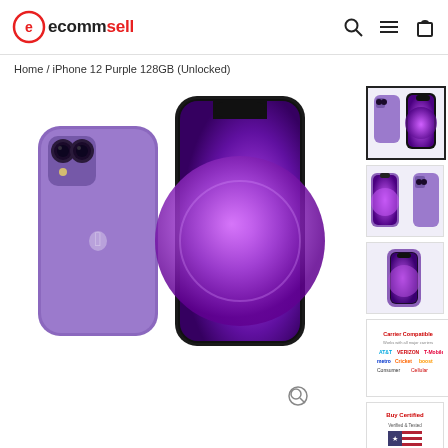[Figure (logo): ecommsell logo with circular e icon in red and brand name text]
Home / iPhone 12 Purple 128GB (Unlocked)
[Figure (photo): Main product image of iPhone 12 in Purple color, showing front and back views side by side on white background]
[Figure (photo): Thumbnail 1 (active/selected): iPhone 12 Purple front and back view]
[Figure (photo): Thumbnail 2: iPhone 12 Purple side views]
[Figure (photo): Thumbnail 3: iPhone 12 Purple corner/edge view]
[Figure (infographic): Carrier compatibility graphic showing ATT, Verizon, T-Mobile, Metro, Cricket, boost and other carrier logos]
[Figure (infographic): Buy Certified badge or certification mark graphic]